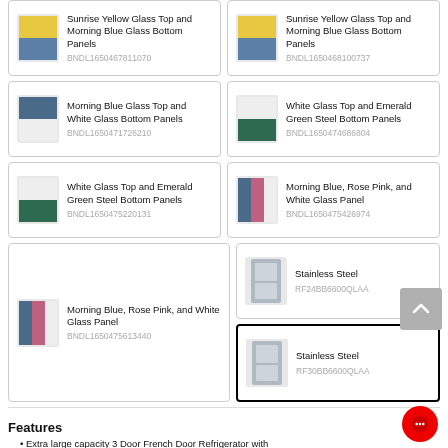Sunrise Yellow Glass Top and Morning Blue Glass Bottom Panels BNDL1650467811070
Sunrise Yellow Glass Top and Morning Blue Glass Bottom Panels BNDL1650468100737
Morning Blue Glass Top and White Glass Bottom Panels BNDL1650471726210
White Glass Top and Emerald Green Steel Bottom Panels BNDL1650474686804
White Glass Top and Emerald Green Steel Bottom Panels BNDL1650475220131
Morning Blue, Rose Pink, and White Glass Panel BNDL1650475426974
Morning Blue, Rose Pink, and White Glass Panel BNDL1650475613440
Stainless Steel RF24BB6600QLAA
Stainless Steel RF30BB6600QLAA
Features
Extra large capacity 3 Door French Door Refrigerator with